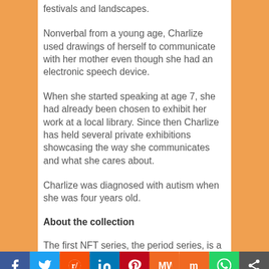festivals and landscapes.
Nonverbal from a young age, Charlize used drawings of herself to communicate with her mother even though she had an electronic speech device.
When she started speaking at age 7, she had already been chosen to exhibit her work at a local library. Since then Charlize has held several private exhibitions showcasing the way she communicates and what she cares about.
Charlize was diagnosed with autism when she was four years old.
About the collection
The first NFT series, the period series, is a tribute to strong women and the